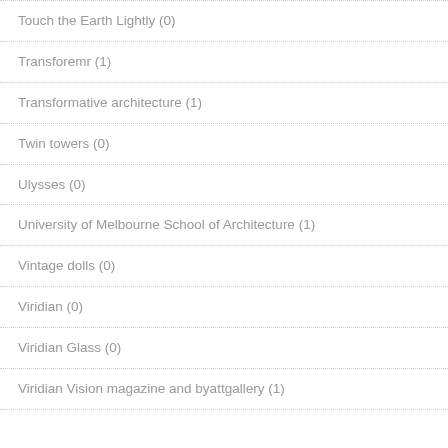Touch the Earth Lightly (0)
Transforemr (1)
Transformative architecture (1)
Twin towers (0)
Ulysses (0)
University of Melbourne School of Architecture (1)
Vintage dolls (0)
Viridian (0)
Viridian Glass (0)
Viridian Vision magazine and byattgallery (1)